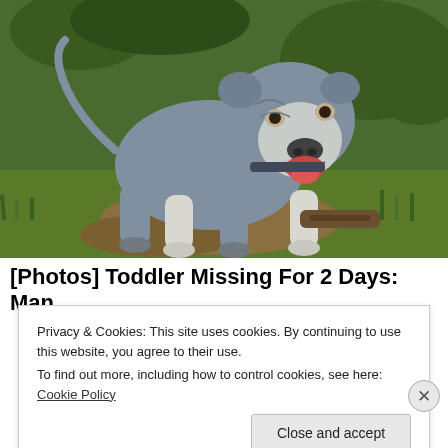[Figure (photo): A grey and white pit bull type dog standing on grass and dirt in an outdoor setting, mouth open, facing the camera. Green grass and foliage in the background.]
[Photos] Toddler Missing For 2 Days: Man
Privacy & Cookies: This site uses cookies. By continuing to use this website, you agree to their use.
To find out more, including how to control cookies, see here: Cookie Policy
Close and accept